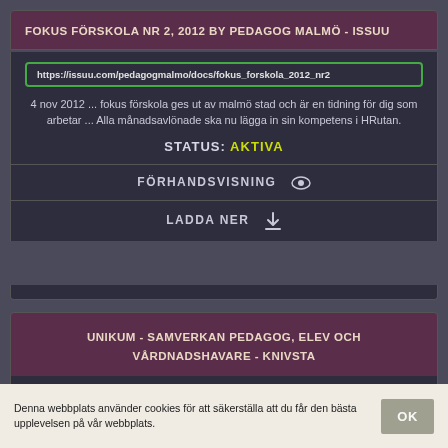FOKUS FÖRSKOLA NR 2, 2012 BY PEDAGOG MALMÖ - ISSUU
https://issuu.com/pedagogmalmo/docs/fokus_forskola_2012_nr2
4 nov 2012 ... fokus förskola ges ut av malmö stad och är en tidning för dig som arbetar ... Alla månadsavlönade ska nu lägga in sin kompetens i HRutan.
STATUS: AKTIVA
FÖRHANDSVISNING
LADDA NER
UNIKUM - SAMVERKAN PEDAGOG, ELEV OCH VÅRDNADSHAVARE - KNIVSTA
Denna webbplats använder cookies för att säkerställa att du får den bästa upplevelsen på vår webbplats.